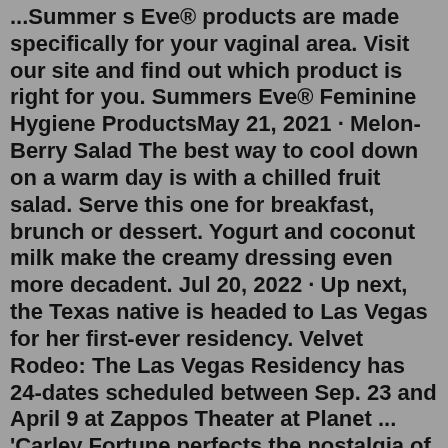...Summer s Eve® products are made specifically for your vaginal area. Visit our site and find out which product is right for you. Summers Eve® Feminine Hygiene ProductsMay 21, 2021 · Melon-Berry Salad The best way to cool down on a warm day is with a chilled fruit salad. Serve this one for breakfast, brunch or dessert. Yogurt and coconut milk make the creamy dressing even more decadent. Jul 20, 2022 · Up next, the Texas native is headed to Las Vegas for her first-ever residency. Velvet Rodeo: The Las Vegas Residency has 24-dates scheduled between Sep. 23 and April 9 at Zappos Theater at Planet ... 'Carley Fortune perfects the nostalgia of young summer love and the choices that change us forever in Every Summer After, a smart and delightful novel that will tug on your heartstrings, and more than satisfy fans of Emily Henry. This is your next must-read beach-read from an exciting new voice. A total joy to devour!'Follow Madlike:Instagram: https://instagram.com/spacegabxFacebook: https://www.facebook.com/MadlikeOfficialTwitter: